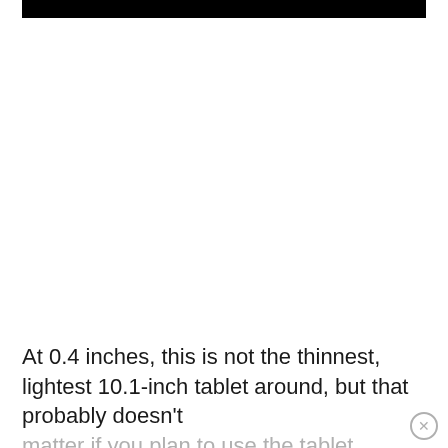[Figure (photo): Black redacted bar at the top of the page]
At 0.4 inches, this is not the thinnest, lightest 10.1-inch tablet around, but that probably doesn't matter if you plan to use the tablet mostly around the house. The size and 1.4 pound weight might